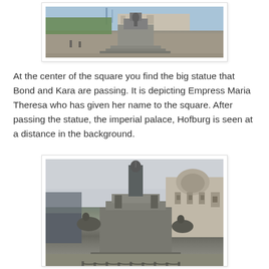[Figure (photo): Outdoor photo showing the base of a large monument/statue in a public square with trees and a grand building in the background, taken at ground level.]
At the center of the square you find the big statue that Bond and Kara are passing. It is depicting Empress Maria Theresa who has given her name to the square. After passing the statue, the imperial palace, Hofburg is seen at a distance in the background.
[Figure (photo): Photo of the Empress Maria Theresa monument in Vienna, showing the large bronze statue on a tall pedestal with equestrian figures on either side and a domed building (Kunsthistorisches Museum) visible in the background.]